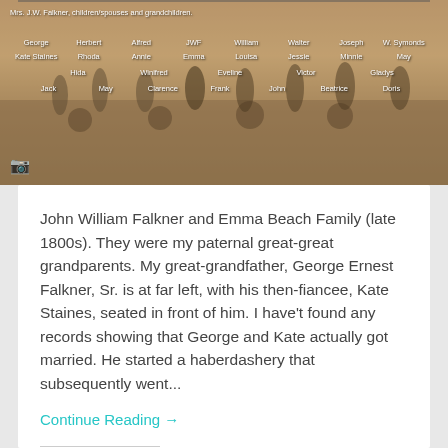[Figure (photo): Sepia-toned family photograph of Mrs. J.W. Falkner, children/spouses and grandchildren, late 1800s. Names labeled in rows: George, Herbert, Alfred, JWF, William, Walter, Joseph, W. Symonds (top row); Kate Staines, Rhoda, Annie, Emma, Louisa, Jessie, Minnie, May (second row); Hida, Winifred, Eveline, Victor, Gladys (third row); Jack, May, Clarence, Frank, John, Beatrice, Doris (bottom row).]
John William Falkner and Emma Beach Family (late 1800s). They were my paternal great-great grandparents. My great-grandfather, George Ernest Falkner, Sr. is at far left, with his then-fiancee, Kate Staines, seated in front of him. I have't found any records showing that George and Kate actually got married. He started a haberdashery that subsequently went...
Continue Reading →
Share this: